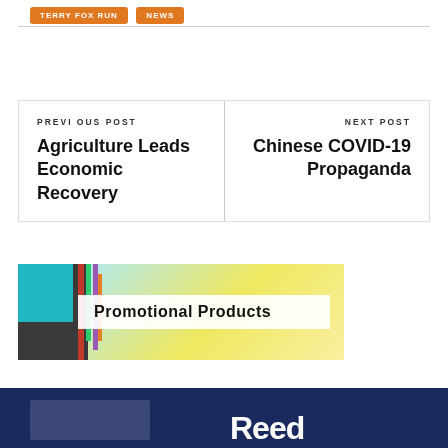TERRY FOX RUN
NEWS
PREVIOUS POST
Agriculture Leads Economic Recovery
NEXT POST
Chinese COVID-19 Propaganda
[Figure (photo): Promotional Products banner image showing office/school supplies with calculator, colorful pens and notebooks in background. White overlay box with bold text 'Promotional Products'.]
[Figure (photo): Dark navy blue banner with large white bold text 'Reed' partially visible at bottom of page.]